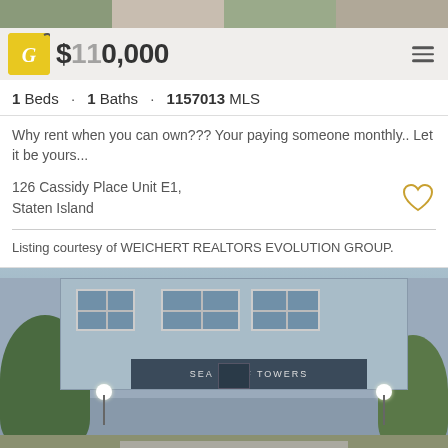[Figure (photo): Top photo strip showing property exterior thumbnails]
$120,000
1 Beds · 1 Baths · 1157013 MLS
Why rent when you can own??? Your paying someone monthly.. Let it be yours...
126 Cassidy Place Unit E1, Staten Island
Listing courtesy of WEICHERT REALTORS EVOLUTION GROUP.
[Figure (photo): Exterior photo of Sea Cliff Towers building with entrance, globe lights, and landscaping]